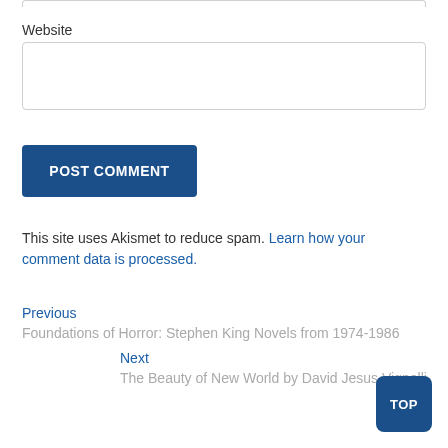Website
POST COMMENT
This site uses Akismet to reduce spam. Learn how your comment data is processed.
Previous
Foundations of Horror: Stephen King Novels from 1974-1986
Next
The Beauty of New World by David Jesus Vignolli
TOP